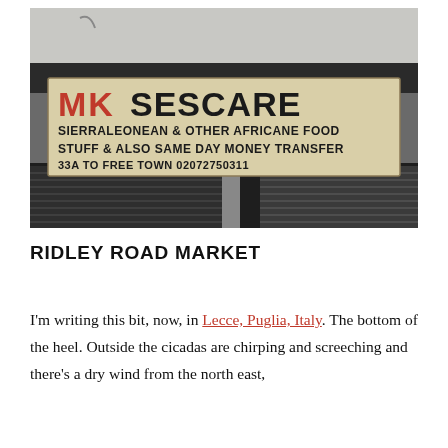[Figure (photo): Photo of a hand-painted shop sign reading 'MK SESCARE SIERRALEONEAN & OTHER AFRICANE FOOD STUFF & ALSO SAME DAY MONEY TRANSFER 33A TO FREE TOWN 02072750311']
RIDLEY ROAD MARKET
I'm writing this bit, now, in Lecce, Puglia, Italy. The bottom of the heel. Outside the cicadas are chirping and screeching and there's a dry wind from the north east,